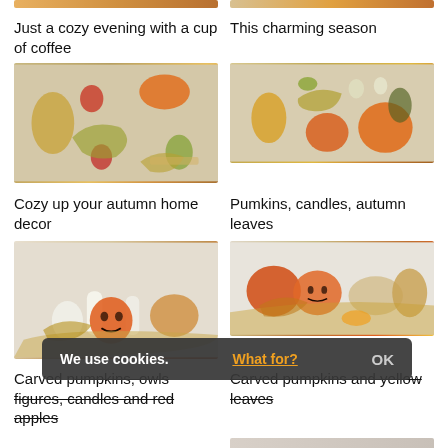[Figure (photo): Top strip showing autumn/fall flat lay items — partial view at top of page, left column]
[Figure (photo): Top strip showing autumn/fall flat lay items — partial view at top of page, right column]
Just a cozy evening with a cup of coffee
This charming season
[Figure (photo): Flat lay of autumn items: yellow pear, apples, orange pumpkin, autumn leaves, small gourds, wheat stalks on beige linen background]
[Figure (photo): Flat lay of autumn items: pumpkins, small gourds, candles, autumn leaves on beige background — top-down view]
Cozy up your autumn home decor
Pumkins, candles, autumn leaves
[Figure (photo): Autumn home decor arrangement: carved jack-o-lanterns, white owl figure, white candles, butternut squash, apples, autumn leaves on straw]
[Figure (photo): Autumn arrangement: pumpkins, carved jack-o-lantern, butternut squash, autumn leaves, dried orange slices on straw mat]
Carved pumpkins, owls figures, candles and red apples
Carved pumpkins and yellow leaves
We use cookies. What for? OK